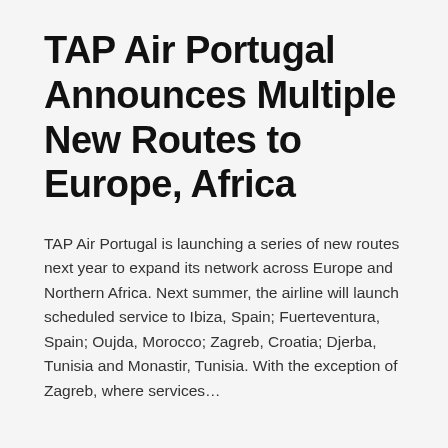TAP Air Portugal Announces Multiple New Routes to Europe, Africa
TAP Air Portugal is launching a series of new routes next year to expand its network across Europe and Northern Africa. Next summer, the airline will launch scheduled service to Ibiza, Spain; Fuerteventura, Spain; Oujda, Morocco; Zagreb, Croatia; Djerba, Tunisia and Monastir, Tunisia. With the exception of Zagreb, where services…